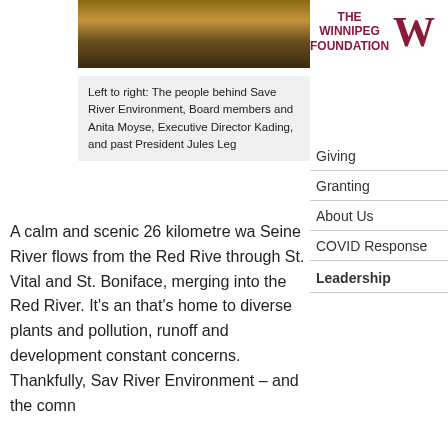[Figure (photo): Group photo of people standing outdoors on autumn leaves]
Left to right: The people behind Save River Environment, Board members and Anita Moyse, Executive Director Kading, and past President Jules Leg
[Figure (logo): The Winnipeg Foundation logo with stylized W]
Giving
Granting
About Us
COVID Response
Leadership
A calm and scenic 26 kilometre wa Seine River flows from the Red Rive through St. Vital and St. Boniface, merging into the Red River. It’s an that’s home to diverse plants and pollution, runoff and development constant concerns. Thankfully, Sav River Environment – and the comn